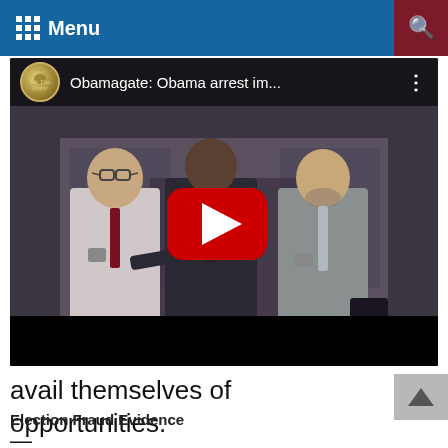Menu
[Figure (screenshot): YouTube video thumbnail showing three men in suits walking, with YouTube play button overlay. Video title: 'Obamagate: Obama arrest im...']
avail themselves of opportunities.
Election Fraud Evidence